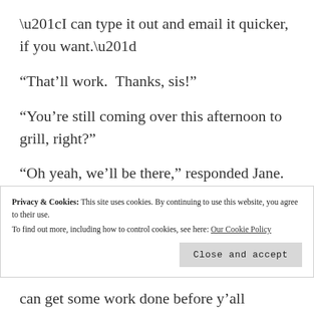“I can type it out and email it quicker, if you want.”
“That’ll work.  Thanks, sis!”
“You’re still coming over this afternoon to grill, right?”
“Oh yeah, we’ll be there,” responded Jane.  “Jacob and Sarah are so excited. You know they love playing at Longbourn.  Apparently, Netherfield just isn’t so cool.”
Privacy & Cookies: This site uses cookies. By continuing to use this website, you agree to their use. To find out more, including how to control cookies, see here: Our Cookie Policy
can get some work done before y’all